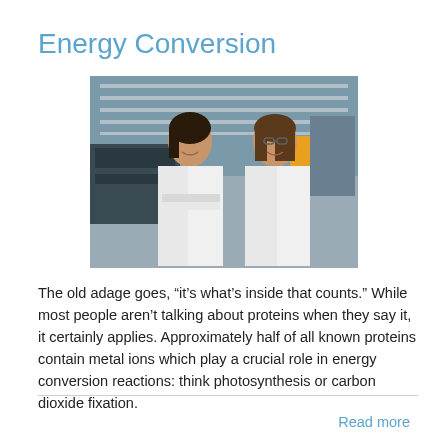Energy Conversion
[Figure (photo): Two women in white lab coats smiling in a laboratory setting with scientific equipment in the background.]
The old adage goes, “it’s what’s inside that counts.” While most people aren’t talking about proteins when they say it, it certainly applies. Approximately half of all known proteins contain metal ions which play a crucial role in energy conversion reactions: think photosynthesis or carbon dioxide fixation.
Read more